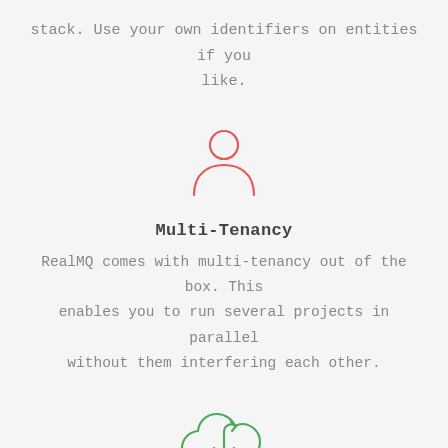stack. Use your own identifiers on entities if you like.
[Figure (illustration): Red outline icon of a person/user silhouette]
Multi-Tenancy
RealMQ comes with multi-tenancy out of the box. This enables you to run several projects in parallel without them interfering each other.
[Figure (illustration): Green outline icon of a cloud with a download arrow]
Message Persistence